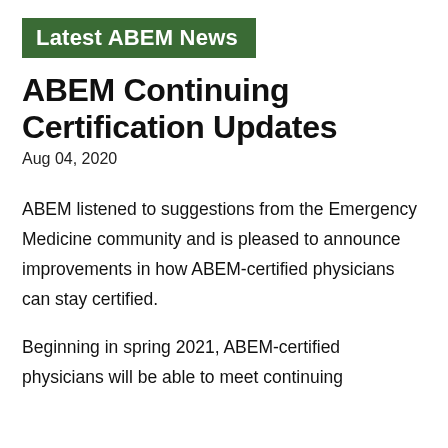Latest ABEM News
ABEM Continuing Certification Updates
Aug 04, 2020
ABEM listened to suggestions from the Emergency Medicine community and is pleased to announce improvements in how ABEM-certified physicians can stay certified.
Beginning in spring 2021, ABEM-certified physicians will be able to meet continuing